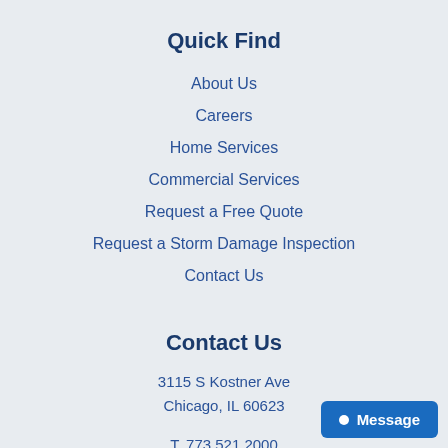Quick Find
About Us
Careers
Home Services
Commercial Services
Request a Free Quote
Request a Storm Damage Inspection
Contact Us
Contact Us
3115 S Kostner Ave
Chicago, IL 60623
T. 773 521 2000
F. 773 521 8173
info@economyroofing.us